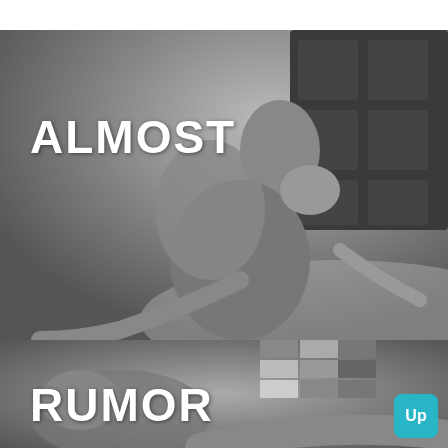[Figure (photo): Grayscale photo (top panel) of two people in an intimate embrace on a bed, overlaid with bold white text 'ALMOST']
[Figure (photo): Grayscale photo (bottom panel) of a person lying down, with a decorative color grid partially visible, overlaid with bold white text 'RUMOR' and a teal 'Up' badge in the bottom-right corner]